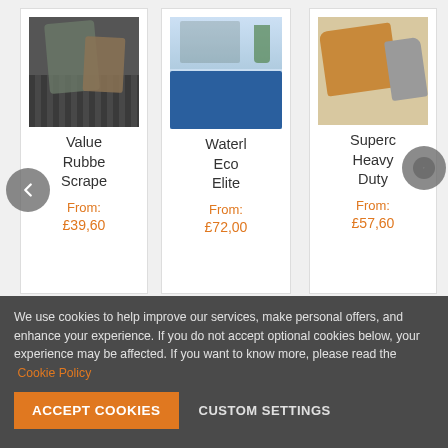[Figure (photo): Product card showing a dark rubber scraper mat with person's shoes on it]
Value Rubbe Scrape
From:
£39,60
[Figure (photo): Product card showing a blue WaterHog Eco Elite mat near an entrance]
Waterl Eco Elite
From:
£72,00
[Figure (photo): Product card showing a tan/brown Supercoir Heavy Duty mat curled up]
Superc Heavy Duty
From:
£57,60
We use cookies to help improve our services, make personal offers, and enhance your experience. If you do not accept optional cookies below, your experience may be affected. If you want to know more, please read the Cookie Policy
ACCEPT COOKIES
CUSTOM SETTINGS